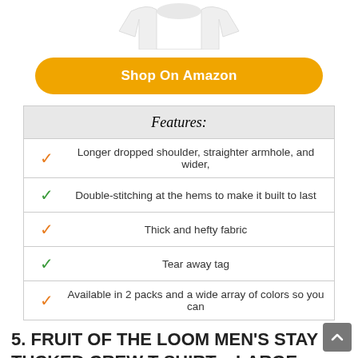[Figure (photo): White t-shirt product image (top, partially cropped)]
Shop On Amazon
| Features: |
| --- |
| ✓ | Longer dropped shoulder, straighter armhole, and wider, |
| ✓ | Double-stitching at the hems to make it built to last |
| ✓ | Thick and hefty fabric |
| ✓ | Tear away tag |
| ✓ | Available in 2 packs and a wide array of colors so you can |
5. FRUIT OF THE LOOM MEN'S STAY TUCKED CREW T-SHIRT – LARGE – WHITE (PACK OF 6)
[Figure (photo): White crew t-shirts product image (bottom, partially cropped)]